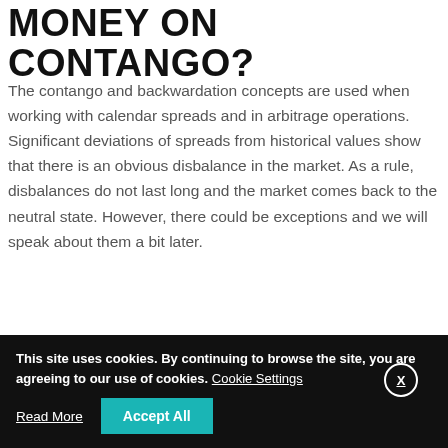MONEY ON CONTANGO?
The contango and backwardation concepts are used when working with calendar spreads and in arbitrage operations. Significant deviations of spreads from historical values show that there is an obvious disbalance in the market. As a rule, disbalances do not last long and the market comes back to the neutral state. However, there could be exceptions and we will speak about them a bit later.
Let's consider an example of working with the calendar spread of the RTS index futures. We built
This site uses cookies. By continuing to browse the site, you are agreeing to our use of cookies. Cookie Settings
Read More
Accept All